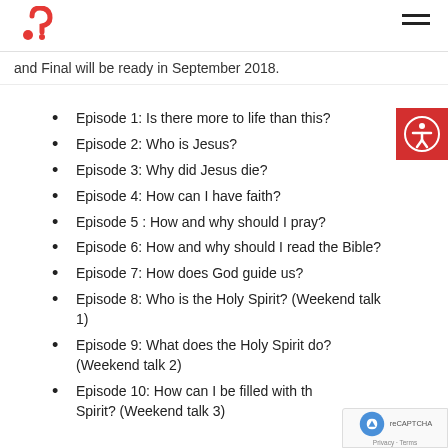[Logo: red question mark] [Hamburger menu]
and Final will be ready in September 2018.
Episode 1: Is there more to life than this?
Episode 2: Who is Jesus?
Episode 3: Why did Jesus die?
Episode 4: How can I have faith?
Episode 5 : How and why should I pray?
Episode 6: How and why should I read the Bible?
Episode 7: How does God guide us?
Episode 8: Who is the Holy Spirit? (Weekend talk 1)
Episode 9: What does the Holy Spirit do? (Weekend talk 2)
Episode 10: How can I be filled with the Holy Spirit? (Weekend talk 3)